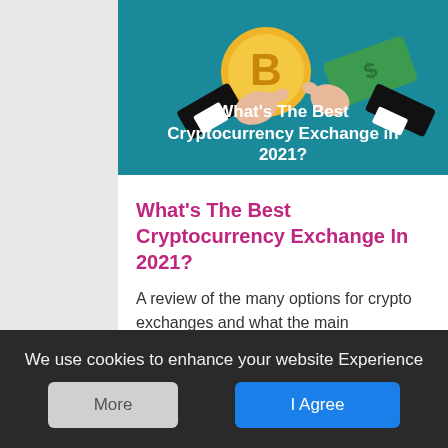[Figure (illustration): Illustration showing two hands exchanging a Bitcoin coin and a dollar bill against a teal background. White bold text reads: What's The Best Cryptocurrency Exchange in 2021?]
What's The Best Cryptocurrency Exchange In 2021?
A review of the many options for crypto exchanges and what the main differences are
We use cookies to enhance your website Experience